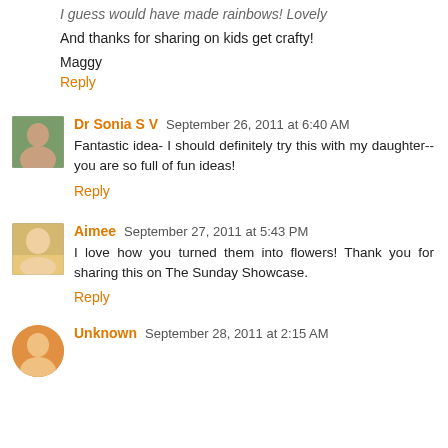I guess would have made rainbows! Lovely
And thanks for sharing on kids get crafty!
Maggy
Reply
Dr Sonia S V  September 26, 2011 at 6:40 AM
Fantastic idea- I should definitely try this with my daughter--you are so full of fun ideas!
Reply
Aimee  September 27, 2011 at 5:43 PM
I love how you turned them into flowers! Thank you for sharing this on The Sunday Showcase.
Reply
Unknown  September 28, 2011 at 2:15 AM